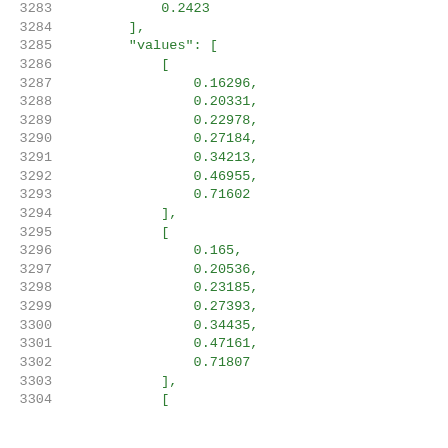3283    0.2423
3284    ],
3285    "values": [
3286        [
3287            0.16296,
3288            0.20331,
3289            0.22978,
3290            0.27184,
3291            0.34213,
3292            0.46955,
3293            0.71602
3294        ],
3295        [
3296            0.165,
3297            0.20536,
3298            0.23185,
3299            0.27393,
3300            0.34435,
3301            0.47161,
3302            0.71807
3303        ],
3304        [